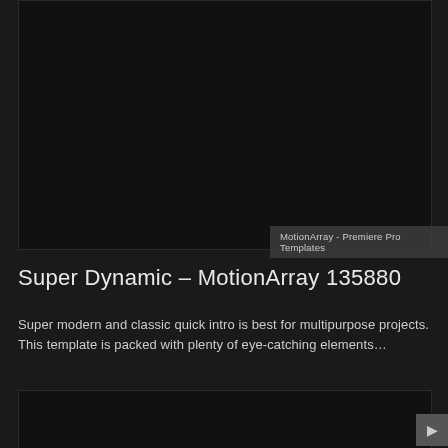[Figure (screenshot): Dark video thumbnail area, black/dark background representing a video preview]
MotionArray - Premiere Pro Templates
Super Dynamic – MotionArray 135880
Super modern and classic quick intro is best for multipurpose projects. This template is packed with plenty of eye-catching elements…
[Figure (screenshot): Second dark video thumbnail area at the bottom of the page]